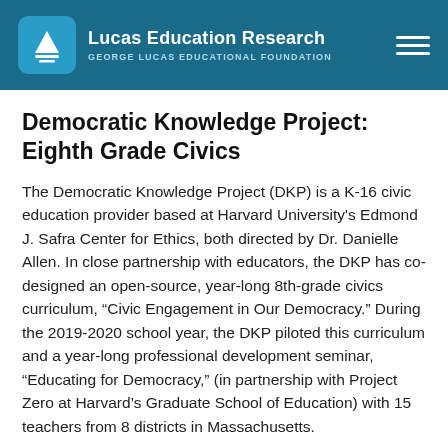Lucas Education Research — GEORGE LUCAS EDUCATIONAL FOUNDATION
Democratic Knowledge Project: Eighth Grade Civics
The Democratic Knowledge Project (DKP) is a K-16 civic education provider based at Harvard University's Edmond J. Safra Center for Ethics, both directed by Dr. Danielle Allen. In close partnership with educators, the DKP has co-designed an open-source, year-long 8th-grade civics curriculum, “Civic Engagement in Our Democracy.” During the 2019-2020 school year, the DKP piloted this curriculum and a year-long professional development seminar, “Educating for Democracy,” (in partnership with Project Zero at Harvard’s Graduate School of Education) with 15 teachers from 8 districts in Massachusetts.